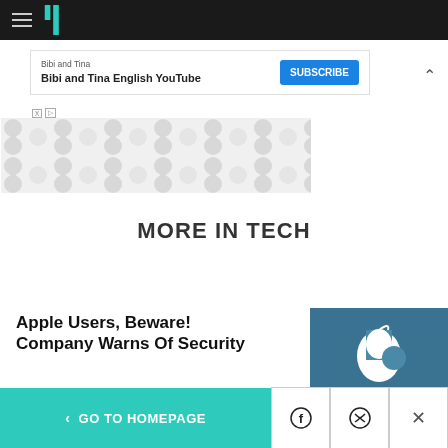HuffPost navigation bar with hamburger menu and logo
[Figure (screenshot): Advertisement banner for Bibi and Tina English YouTube channel with Subscribe button]
[Figure (illustration): Decorative abstract pattern with circles and connectors in light grey]
MORE IN TECH
Apple Users, Beware! Company Warns Of Security
[Figure (photo): Apple logo on glass storefront, blue tinted]
< GO TO HOMEPAGE  [Facebook] [Twitter] [X]